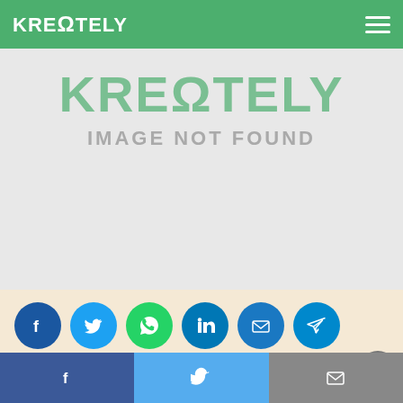KREΩTELY
[Figure (screenshot): Image not found placeholder showing KREΩTELY logo text in green and 'IMAGE NOT FOUND' text in grey on a light grey background]
[Figure (infographic): Row of social media share icons: Facebook (dark blue), Twitter (light blue), WhatsApp (green), LinkedIn (blue), Email (blue), Telegram (blue)]
When you are born do you your father and mother? D
[Figure (infographic): Bottom sticky share bar with Facebook (dark blue), Twitter (light blue), and Email (grey) buttons]